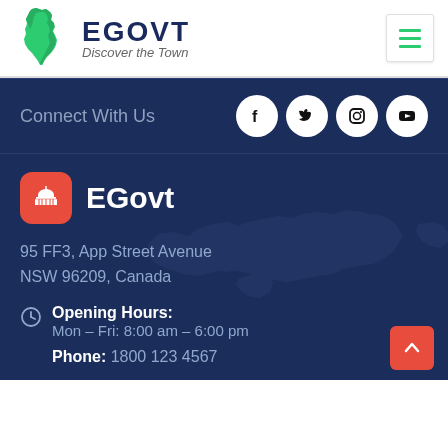[Figure (logo): EGovt logo with green Africa map silhouette and text 'EGOVT Discover the Town']
[Figure (other): Hamburger menu icon (three green horizontal bars on white square button)]
Connect With Us
[Figure (other): Social media icons: Facebook, Twitter, Instagram, YouTube - white circles on dark navy background]
[Figure (logo): EGovt app icon - red rounded square with white capitol building icon]
EGovt
95 FF3, App Street Avenue
NSW 96209, Canada
Opening Hours:
Mon – Fri: 8:00 am – 6:00 pm
Phone: 1800 123 4567